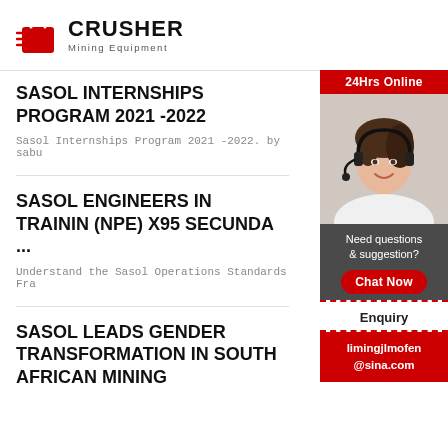CRUSHER Mining Equipment
SASOL INTERNSHIPS PROGRAM 2021 -2022
Sasol Internships Program 2021 -2022. by sabu
SASOL ENGINEERS IN TRAINING (NPE) X95 SECUNDA ...
Understand the Sasol Operations Standards Fra
SASOL LEADS GENDER TRANSFORMATION IN SOUTH AFRICAN MINING
[Figure (photo): Customer service representative woman wearing headset, sidebar advertisement for 24Hrs Online support with Chat Now button, Enquiry link, and limingjlmofen@sina.com email]